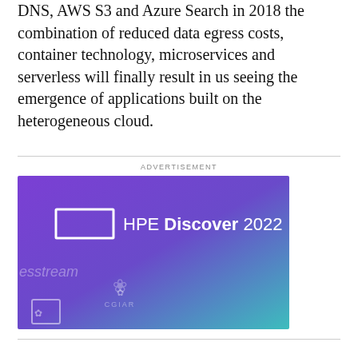DNS, AWS S3 and Azure Search in 2018 the combination of reduced data egress costs, container technology, microservices and serverless will finally result in us seeing the emergence of applications built on the heterogeneous cloud.
ADVERTISEMENT
[Figure (illustration): HPE Discover 2022 advertisement banner with purple to teal gradient background, HPE logo rectangle outline, text 'HPE Discover 2022', watermark logos of esstream and CGIAR visible]